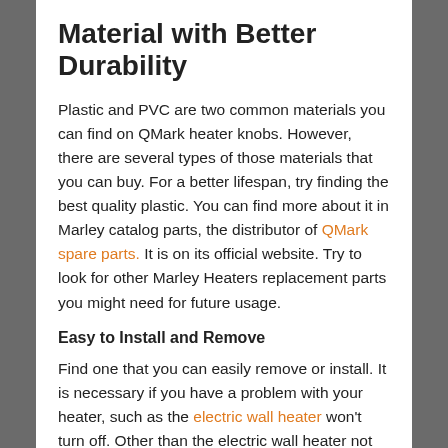Material with Better Durability
Plastic and PVC are two common materials you can find on QMark heater knobs. However, there are several types of those materials that you can buy. For a better lifespan, try finding the best quality plastic. You can find more about it in Marley catalog parts, the distributor of QMark spare parts. It is on its official website. Try to look for other Marley Heaters replacement parts you might need for future usage.
Easy to Install and Remove
Find one that you can easily remove or install. It is necessary if you have a problem with your heater, such as the electric wall heater won't turn off. Other than the electric wall heater not working problem you also need it when you clean your heater. You need to